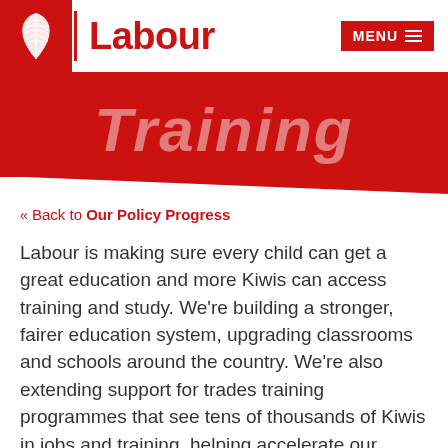Labour — MENU
Training
« Back to Our Policy Progress
Labour is making sure every child can get a great education and more Kiwis can access training and study. We're building a stronger, fairer education system, upgrading classrooms and schools around the country. We're also extending support for trades training programmes that see tens of thousands of Kiwis in jobs and training, helping accelerate our economic recovery.